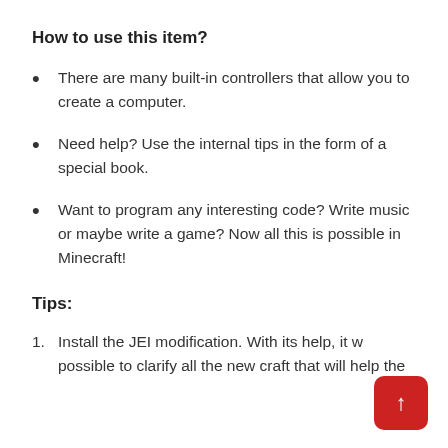How to use this item?
There are many built-in controllers that allow you to create a computer.
Need help? Use the internal tips in the form of a special book.
Want to program any interesting code? Write music or maybe write a game? Now all this is possible in Minecraft!
Tips:
Install the JEI modification. With its help, it will be possible to clarify all the new craft that will help the